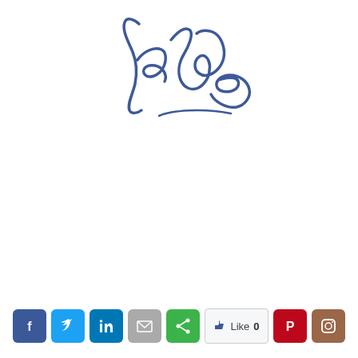[Figure (illustration): Cursive handwritten signature reading 'Lisa' in blue ink]
[Figure (infographic): Row of social media sharing buttons: Facebook (blue), Twitter (light blue), LinkedIn (dark blue), Email (gray), Share (green), Facebook Like with count 0, Pinterest (red), Instagram (brown)]